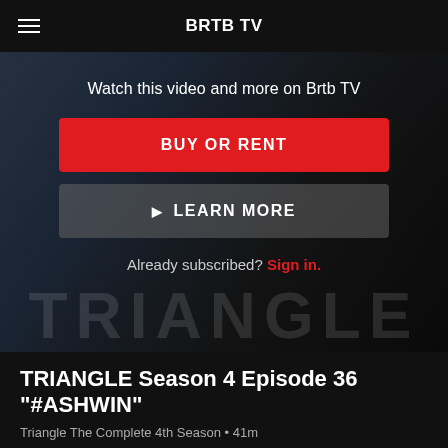BRTB TV
[Figure (screenshot): Video thumbnail showing a dark scene with overlaid text: TRIANGLE, SEASON 4, EPISODE 36, #ASHWIN]
Watch this video and more on Brtb TV
BUY OR RENT
▶  LEARN MORE
Already subscribed? Sign in.
TRIANGLE Season 4 Episode 36 "#ASHWIN"
Triangle The Complete 4th Season • 41m